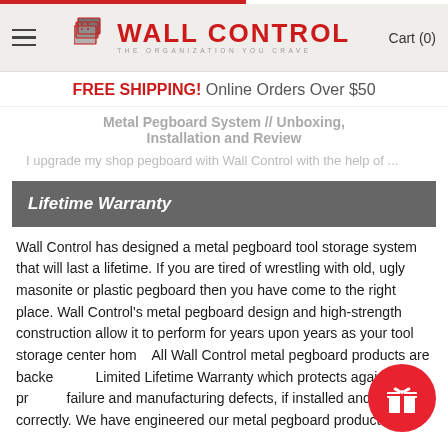WALL CONTROL — THE ORGANIZATION YOU CRAVE | Cart (0)
FREE SHIPPING! Online Orders Over $50
Metal Pegboard System // Unboxing, Installation and Review
I upgrade my shop pegboard with Wall Control with the help of ...
Lifetime Warranty
Wall Control has designed a metal pegboard tool storage system that will last a lifetime. If you are tired of wrestling with old, ugly masonite or plastic pegboard then you have come to the right place. Wall Control's metal pegboard design and high-strength construction allow it to perform for years upon years as your tool storage center home. All Wall Control metal pegboard products are backed by a Limited Lifetime Warranty which protects against product failure and manufacturing defects, if installed and used correctly. We have engineered our metal pegboard products